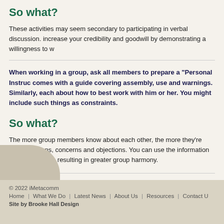So what?
These activities may seem secondary to participating in verbal discussion. increase your credibility and goodwill by demonstrating a willingness to w
When working in a group, ask all members to prepare a “Personal Instruc comes with a guide covering assembly, use and warnings. Similarly, each about how to best work with him or her. You might include such things as constraints.
So what?
The more group members know about each other, the more they’re likely reactions, concerns and objections. You can use the information to motiv conflict, resulting in greater group harmony.
© 2022 iMetacomm | Home | What We Do | Latest News | About Us | Resources | Contact U | Site by Brooke Hall Design